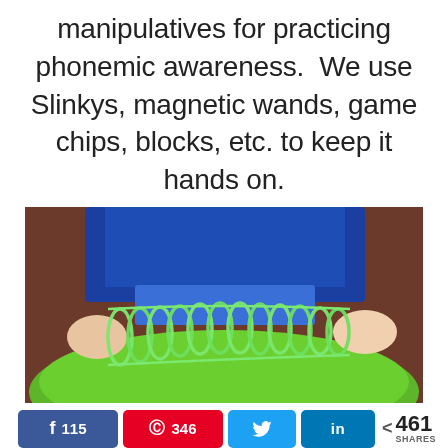manipulatives for practicing phonemic awareness.  We use Slinkys, magnetic wands, game chips, blocks, etc. to keep it hands on.
[Figure (photo): Child's hands stretching a green Slinky toy on a green surface, wearing a blue shirt. Photo showing a manipulative used for phonemic awareness practice.]
115  346  [Twitter share]  [LinkedIn share]  < 461 SHARES